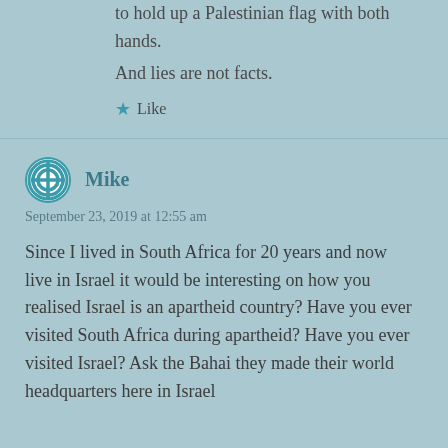to hold up a Palestinian flag with both hands.
And lies are not facts.
Like
Mike
September 23, 2019 at 12:55 am
Since I lived in South Africa for 20 years and now live in Israel it would be interesting on how you realised Israel is an apartheid country? Have you ever visited South Africa during apartheid? Have you ever visited Israel? Ask the Bahai they made their world headquarters here in Israel